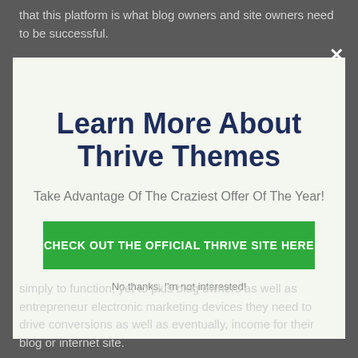that this platform is what blog owners and site owners need to be successful.
[Figure (screenshot): Modal popup with close button (×) in top right corner, light green background, containing title 'Learn More About Thrive Themes', subtitle 'Take Advantage Of The Craziest Offer Of The Year!', a green CTA button 'CHECK OUT THE OFFICIAL THRIVE SITE HERE', and a dismiss link 'No thanks, I'm not interested!']
simply to function, yet to plus blog owners as well as entrepreneur electronic marketing devices they need to drive conversions as well as eventually, income for their blog or internet site.